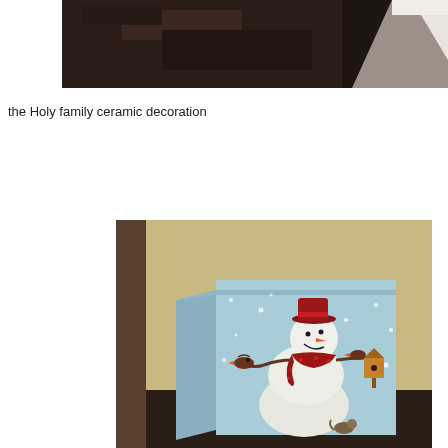[Figure (photo): Partial photo of dark marble or stone surface with a white object (possibly fabric or figurine) visible in the upper right corner]
the Holy family ceramic decoration
[Figure (photo): A decorative box/item featuring a snowman with a red hat and red polka-dot scarf, birds on branches, and a birdhouse, set against a light blue snowy background, placed on a dark wooden surface in front of a beige wall]